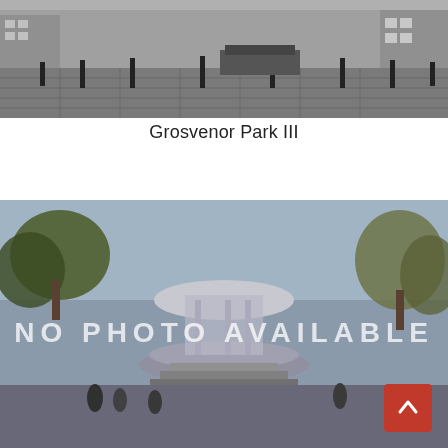[Figure (photo): Black and white photograph of an urban plaza or park area with bollards, paving stones, benches and buildings in the background.]
Grosvenor Park III
[Figure (photo): Color photograph of a park with a fountain/bandstand structure, trees, and people walking. Overlaid with 'NO PHOTO AVAILABLE' watermark text. A red scroll-to-top button is in the lower right corner.]